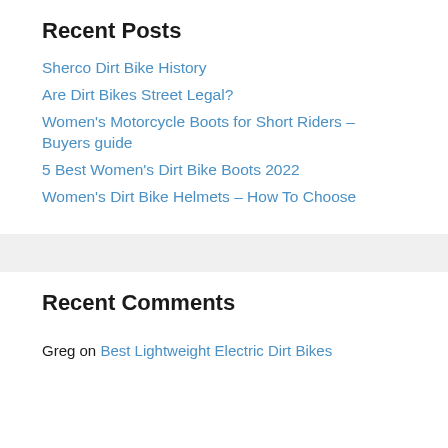Recent Posts
Sherco Dirt Bike History
Are Dirt Bikes Street Legal?
Women's Motorcycle Boots for Short Riders – Buyers guide
5 Best Women's Dirt Bike Boots 2022
Women's Dirt Bike Helmets – How To Choose
Recent Comments
Greg on Best Lightweight Electric Dirt Bikes